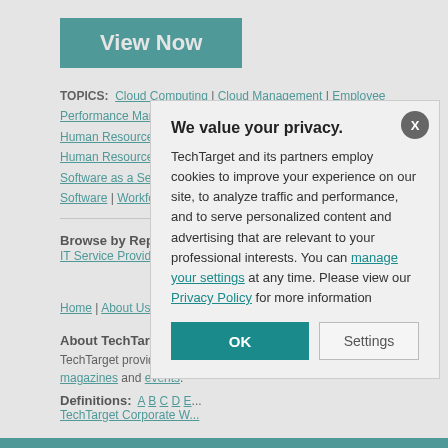[Figure (other): Teal 'View Now' button]
TOPICS: Cloud Computing | Cloud Management | Employee Performance Management (EP... Human Resources Service Providers | Human Resources Services | Human Resources Sof... Software as a Service | Talent Management | Workforce Management Software | Workforce P...
Browse by Report Type:
IT Service Providers W...
Home | About Us | Cor...
About TechTarget:
TechTarget provides en... cost-effective IT purcha... magazines and events.
Definitions: A B C D E... TechTarget Corporate W...
All Rights Reserved, Co...
We value your privacy.
TechTarget and its partners employ cookies to improve your experience on our site, to analyze traffic and performance, and to serve personalized content and advertising that are relevant to your professional interests. You can manage your settings at any time. Please view our Privacy Policy for more information